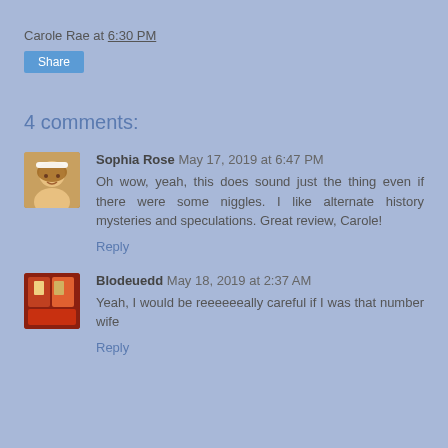Carole Rae at 6:30 PM
Share
4 comments:
Sophia Rose May 17, 2019 at 6:47 PM
Oh wow, yeah, this does sound just the thing even if there were some niggles. I like alternate history mysteries and speculations. Great review, Carole!
Reply
Blodeuedd May 18, 2019 at 2:37 AM
Yeah, I would be reeeeeeally careful if I was that number wife
Reply